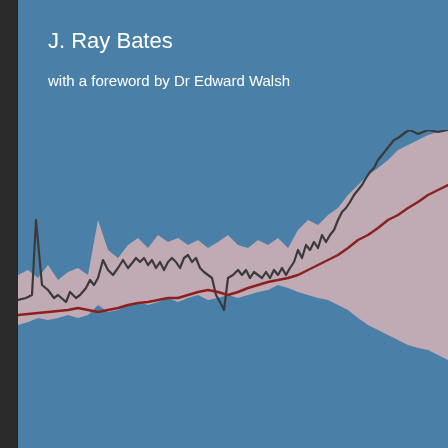J. Ray Bates
with a foreword by Dr Edward Walsh
[Figure (continuous-plot): Book cover illustration showing two overlapping time-series lines (one dark grey/black, one dark red/maroon) with a pink shaded confidence band between them, trending upward from left to right against a steel-blue background, suggesting climate or temperature data variability over time.]